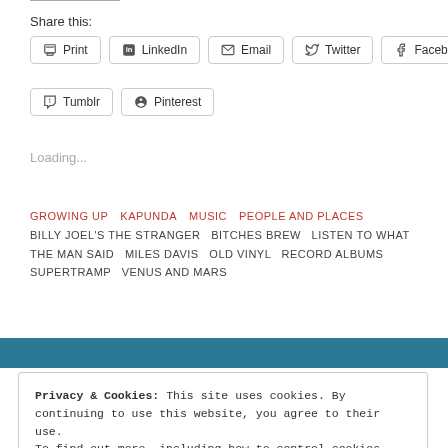Share this:
Print
LinkedIn
Email
Twitter
Facebook
Tumblr
Pinterest
Loading...
GROWING UP  KAPUNDA  MUSIC  PEOPLE AND PLACES
BILLY JOEL'S THE STRANGER  BITCHES BREW  LISTEN TO WHAT THE MAN SAID  MILES DAVIS  OLD VINYL  RECORD ALBUMS  SUPERTRAMP  VENUS AND MARS
Privacy & Cookies: This site uses cookies. By continuing to use this website, you agree to their use.
To find out more, including how to control cookies, see here: Cookie Policy
Close and accept